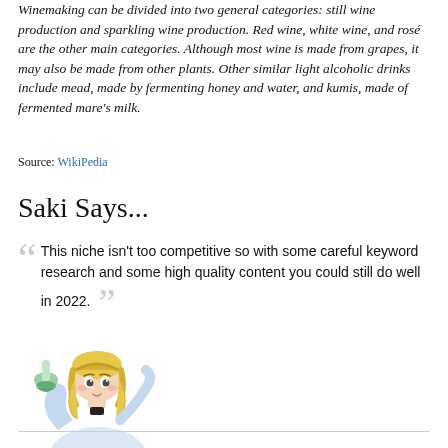Winemaking can be divided into two general categories: still wine production and sparkling wine production. Red wine, white wine, and rosé are the other main categories. Although most wine is made from grapes, it may also be made from other plants. Other similar light alcoholic drinks include mead, made by fermenting honey and water, and kumis, made of fermented mare's milk.
Source: WikiPedia
Saki Says...
This niche isn't too competitive so with some careful keyword research and some high quality content you could still do well in 2022.
[Figure (illustration): Anime-style illustration of a blonde girl in a lab coat holding a green flask]